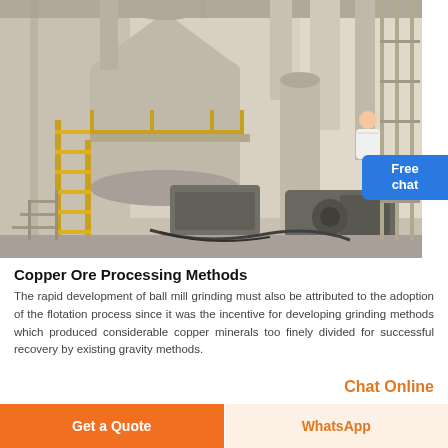[Figure (photo): Industrial copper ore processing facility showing large ball mill grinding equipment, yellow metal staircases/railings, large cylindrical tanks, pipes, motors, and industrial machinery inside a warehouse/plant setting.]
Copper Ore Processing Methods
The rapid development of ball mill grinding must also be attributed to the adoption of the flotation process since it was the incentive for developing grinding methods which produced considerable copper minerals too finely divided for successful recovery by existing gravity methods.
Chat Online
Get a Quote
WhatsApp